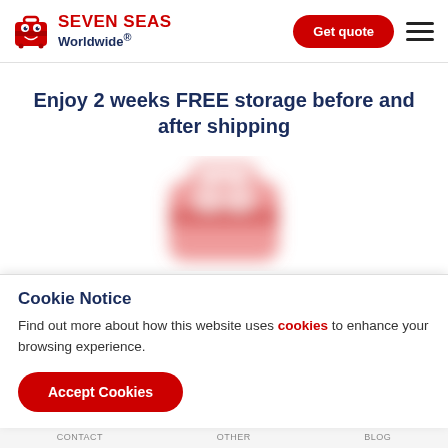Seven Seas Worldwide® — Get quote
Enjoy 2 weeks FREE storage before and after shipping
[Figure (illustration): Blurred/obscured image of a red luggage suitcase mascot, the Seven Seas Worldwide brand character]
Cookie Notice
Find out more about how this website uses cookies to enhance your browsing experience.
Accept Cookies